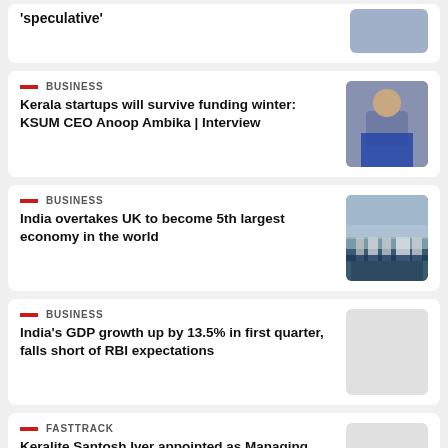'speculative'
BUSINESS — Kerala startups will survive funding winter: KSUM CEO Anoop Ambika | Interview
BUSINESS — India overtakes UK to become 5th largest economy in the world
BUSINESS — India's GDP growth up by 13.5% in first quarter, falls short of RBI expectations
FASTTRACK — Keralite Santosh Iyer appointed as Managing Director and CEO